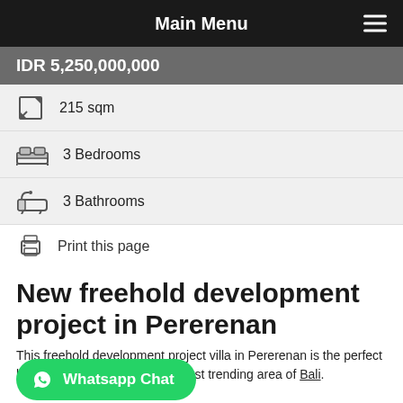Main Menu
IDR 5,250,000,000
215 sqm
3 Bedrooms
3 Bathrooms
Print this page
New freehold development project in Pererenan
This freehold development project villa in Pererenan is the perfect brand-new villa in one of the most trending area of Bali.